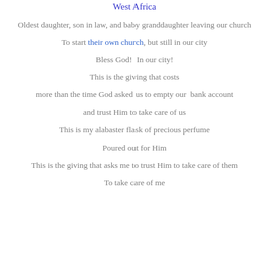West Africa
Oldest daughter, son in law, and baby granddaughter leaving our church
To start their own church, but still in our city
Bless God!  In our city!
This is the giving that costs
more than the time God asked us to empty our  bank account
and trust Him to take care of us
This is my alabaster flask of precious perfume
Poured out for Him
This is the giving that asks me to trust Him to take care of them
To take care of me